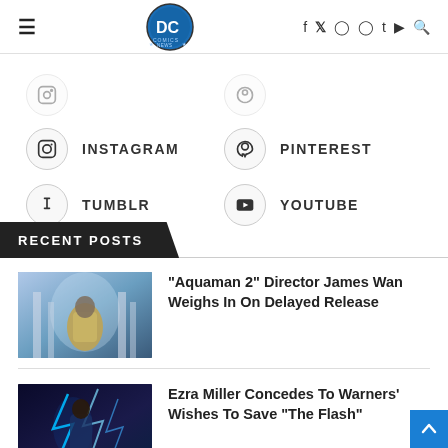DC Comics News - navigation header with logo and social icons
INSTAGRAM
PINTEREST
TUMBLR
YOUTUBE
RECENT POSTS
"Aquaman 2" Director James Wan Weighs In On Delayed Release
Ezra Miller Concedes To Warners' Wishes To Save "The Flash"